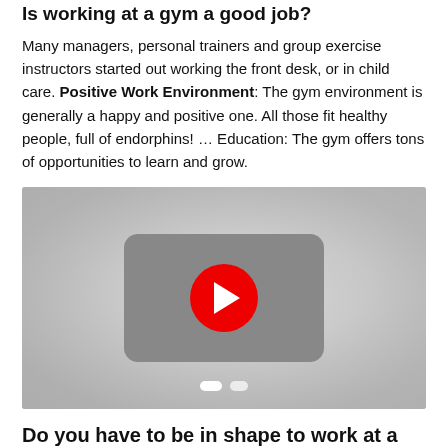Is working at a gym a good job?
Many managers, personal trainers and group exercise instructors started out working the front desk, or in child care. Positive Work Environment: The gym environment is generally a happy and positive one. All those fit healthy people, full of endorphins! … Education: The gym offers tons of opportunities to learn and grow.
[Figure (screenshot): YouTube video player thumbnail showing a red play button on a grey rounded rectangle background]
Do you have to be in shape to work at a gym?